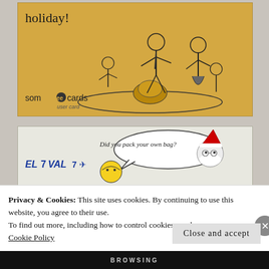[Figure (illustration): Someecards user card with holiday text and family dinner illustration on tan/gold background. Text reads 'holiday!' with cartoon family at dinner table. Logo at bottom left reads 'someecards user card'.]
[Figure (illustration): El Al airline cartoon with speech bubble saying 'Did you pack your own bag?' showing El Al logo, blonde character and Santa Claus figure with red hat.]
Privacy & Cookies: This site uses cookies. By continuing to use this website, you agree to their use.
To find out more, including how to control cookies, see here:
Cookie Policy
Close and accept